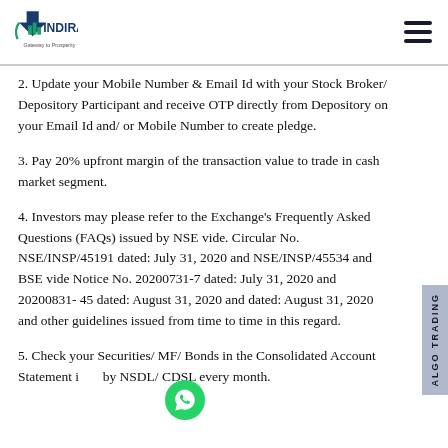Indira Securities - Gateway to Prosperity
2. Update your Mobile Number & Email Id with your Stock Broker/ Depository Participant and receive OTP directly from Depository on your Email Id and/ or Mobile Number to create pledge.
3. Pay 20% upfront margin of the transaction value to trade in cash market segment.
4. Investors may please refer to the Exchange's Frequently Asked Questions (FAQs) issued by NSE vide. Circular No. NSE/INSP/45191 dated: July 31, 2020 and NSE/INSP/45534 and BSE vide Notice No. 20200731-7 dated: July 31, 2020 and 20200831- 45 dated: August 31, 2020 and dated: August 31, 2020 and other guidelines issued from time to time in this regard.
5. Check your Securities/ MF/ Bonds in the Consolidated Account Statement issued by NSDL/ CDSL every month.